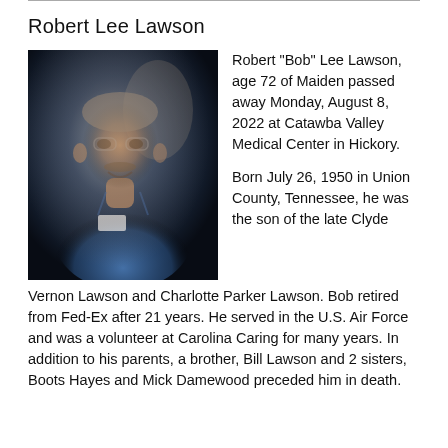Robert Lee Lawson
[Figure (photo): Portrait photo of Robert 'Bob' Lee Lawson, a middle-aged man with gray hair and mustache, wearing a blue shirt, smiling.]
Robert "Bob" Lee Lawson, age 72 of Maiden passed away Monday, August 8, 2022 at Catawba Valley Medical Center in Hickory.

Born July 26, 1950 in Union County, Tennessee, he was the son of the late Clyde Vernon Lawson and Charlotte Parker Lawson. Bob retired from Fed-Ex after 21 years. He served in the U.S. Air Force and was a volunteer at Carolina Caring for many years. In addition to his parents, a brother, Bill Lawson and 2 sisters, Boots Hayes and Mick Damewood preceded him in death.